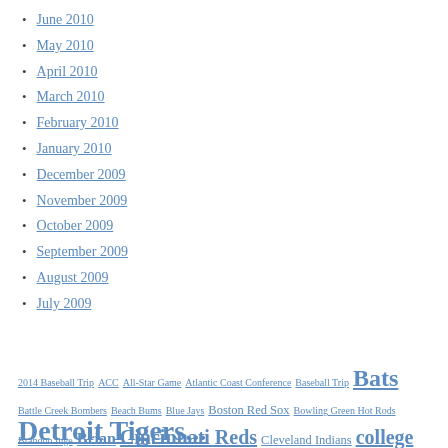June 2010
May 2010
April 2010
March 2010
February 2010
January 2010
December 2009
November 2009
October 2009
September 2009
August 2009
July 2009
2014 Baseball Trip ACC All-Star Game Atlantic Coast Conference Baseball Trip Bats Battle Creek Bombers Beach Bums Blue Jays Boston Red Sox Bowling Green Hot Rods Brandon Inge Brian Cincinnati Reds Cleveland Indians college Detroit Tigers...